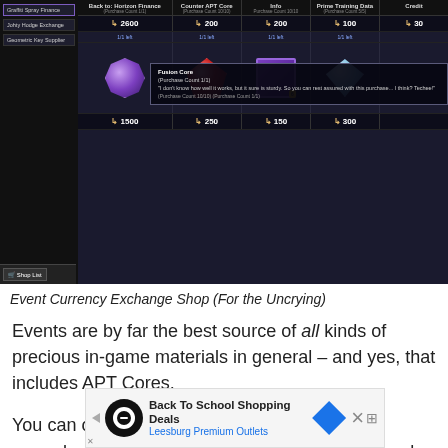[Figure (screenshot): Screenshot of an in-game Event Currency Exchange Shop UI showing items like Counter APT Core, Prime Training Data, Fusion Core with prices in game currency (2500, 200, 200, 100, 30, 1500, 250, 150, 300) and a tooltip overlay]
Event Currency Exchange Shop (For the Uncrying)
Events are by far the best source of all kinds of precious in-game materials in general – and yes, that includes APT Cores.
You can often find APT Cores either as event rewards or in the Exchange Shop where they can be bought with the event currencies that you get from farming event stages.
[Figure (screenshot): Advertisement banner for Back To School Shopping Deals at Leesburg Premium Outlets]